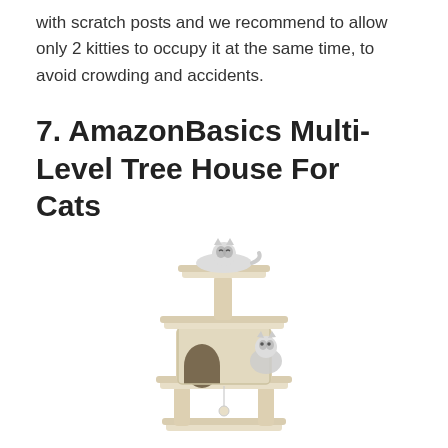with scratch posts and we recommend to allow only 2 kitties to occupy it at the same time, to avoid crowding and accidents.
7. AmazonBasics Multi-Level Tree House For Cats
[Figure (photo): A multi-level beige cat tree house/tower with scratch posts, platforms, a cubby/condo, and a dangling toy ball. Two cats are visible — one resting on the top platform and another sitting beside the cubby on the middle level.]